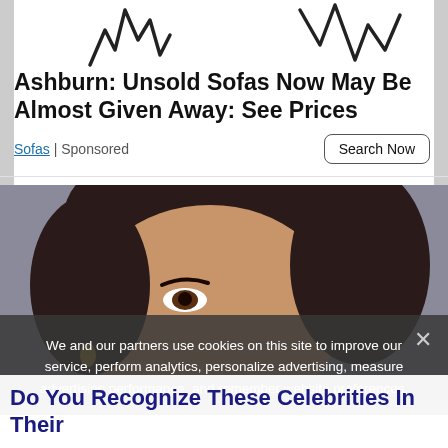[Figure (other): Partial view of decorative squiggly/zigzag lines on white background at top of page]
Ashburn: Unsold Sofas Now May Be Almost Given Away: See Prices
Sofas | Sponsored
Search Now
[Figure (photo): Close-up photo of a woman with short dark curly hair and gold hoop earrings, looking at camera, gray background]
We and our partners use cookies on this site to improve our service, perform analytics, personalize advertising, measure advertising performance, and remember website preferences.
Do You Recognize These Celebrities In Their